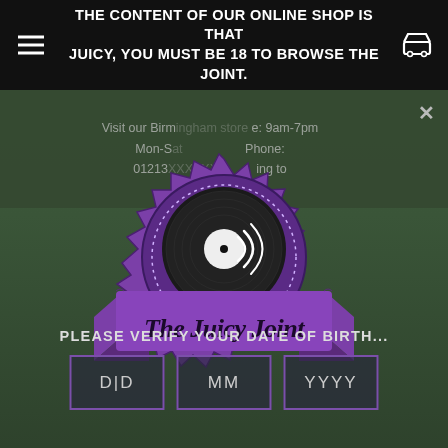THE CONTENT OF OUR ONLINE SHOP IS THAT JUICY, YOU MUST BE 18 TO BROWSE THE JOINT.
Visit our Birm... e: 9am-7pm Mon-... Phone: 01213... ing to
[Figure (logo): The Juicy Joint logo: a purple badge/seal with a vinyl record in the center and a purple ribbon banner reading 'The Juicy Joint' in script lettering]
PLEASE VERIFY YOUR DATE OF BIRTH...
DD  MM  YYYY